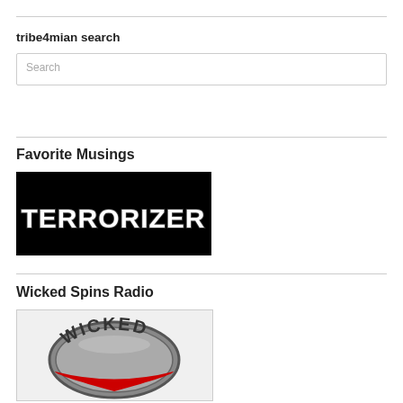tribe4mian search
Search
Favorite Musings
[Figure (logo): Terrorizer magazine logo — white horror-style letters on black background]
Wicked Spins Radio
[Figure (logo): Wicked Spins Radio logo — metallic badge/emblem with text WICKED visible]